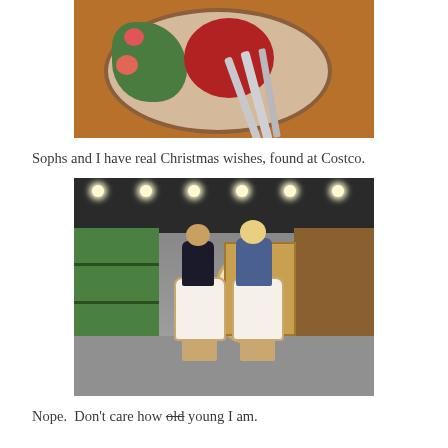[Figure (photo): Overhead view of a plate with salad, tomatoes, a bowl of red soup, and silverware (fork, spoon, knife) on a wooden table]
Sophs and I have real Christmas wishes, found at Costco.
[Figure (photo): Two people (likely a child and an adult) riding large stuffed horse toys in a Costco store aisle surrounded by toys and shelves]
Nope.  Don't care how old young I am.